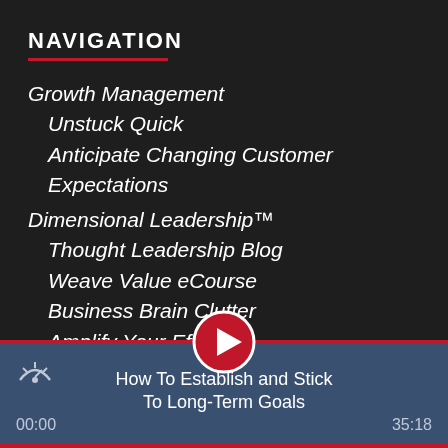NAVIGATION
Growth Management
Unstuck Quick
Anticipate Changing Customer Expectations
Dimensional Leadership™
Thought Leadership Blog
Weave Value eCourse
Business Brain Clutter
Amplify Your Effort
Operational Consulting
Strategic Intensive
Business Decisions That Last
Business Growth Plateau
[Figure (screenshot): Video player bar at bottom showing play button, title 'How To Establish and Stick To Long-Term Goals', time 00:00 and 35:18]